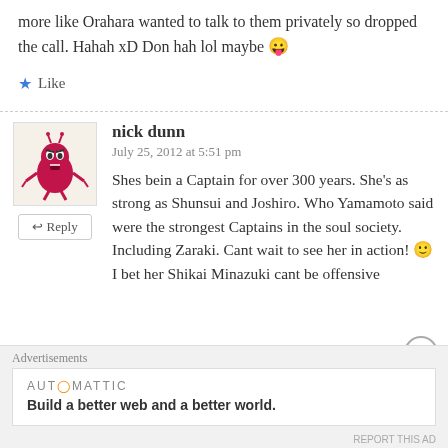more like Orahara wanted to talk to them privately so dropped the call. Hahah xD Don hah lol maybe 😛
★ Like
nick dunn
July 25, 2012 at 5:51 pm
Shes bein a Captain for over 300 years. She's as strong as Shunsui and Joshiro. Who Yamamoto said were the strongest Captains in the soul society. Including Zaraki. Cant wait to see her in action! 🙂 I bet her Shikai Minazuki cant be offensive
Advertisements
AUTOMATTIC
Build a better web and a better world.